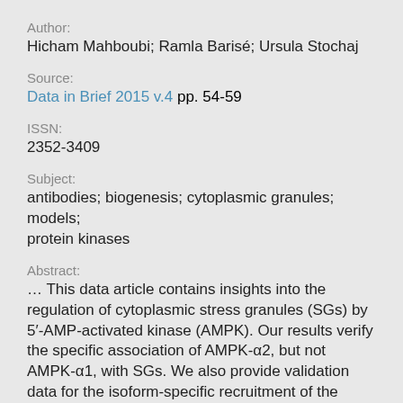Author:
Hicham Mahboubi; Ramla Barisé; Ursula Stochaj
Source:
Data in Brief 2015 v.4 pp. 54-59
ISSN:
2352-3409
Subject:
antibodies; biogenesis; cytoplasmic granules; models; protein kinases
Abstract:
… This data article contains insights into the regulation of cytoplasmic stress granules (SGs) by 5′-AMP-activated kinase (AMPK). Our results verify the specific association of AMPK-α2, but not AMPK-α1, with SGs. We also provide validation data for the isoform-specific recruitment of the AMPK-α subunit to SGs using (i) different antibodies and (ii) a distinct cellular model system. In addition, we a …
DOI: